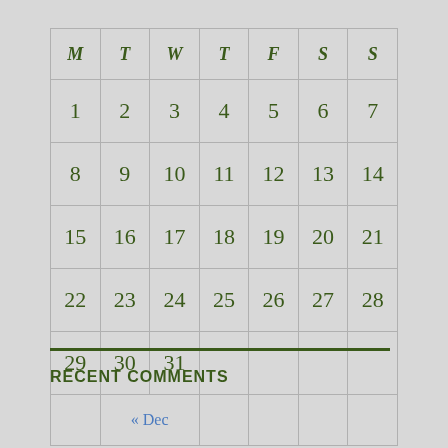| M | T | W | T | F | S | S |
| --- | --- | --- | --- | --- | --- | --- |
| 1 | 2 | 3 | 4 | 5 | 6 | 7 |
| 8 | 9 | 10 | 11 | 12 | 13 | 14 |
| 15 | 16 | 17 | 18 | 19 | 20 | 21 |
| 22 | 23 | 24 | 25 | 26 | 27 | 28 |
| 29 | 30 | 31 |  |  |  |  |
|  | « Dec |  |  |  |  |  |
RECENT COMMENTS